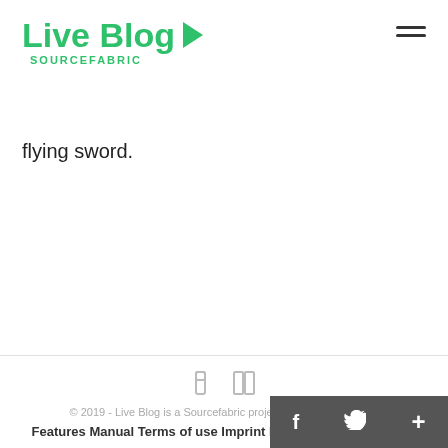[Figure (logo): Live Blog Sourcefabric logo in green with arrow chevron]
flying sword.
[Figure (infographic): Two small gray social media icons (Facebook and Twitter)]
© 2019 - Live Blog is a Sourcefabric project - All rights reserved
Features Manual Terms of use Imprint Blog Newsletter archive
[Figure (logo): Live Blog Sourcefabric footer logo in green]
[Figure (infographic): Dark gray bottom bar with white f, Twitter bird, and + icons]